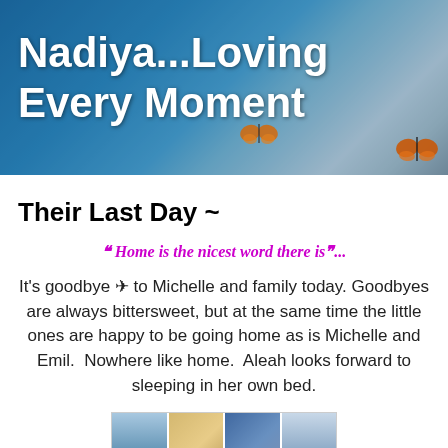[Figure (photo): Blog header banner with blue sky, butterfly, and ethereal background imagery]
Nadiya...Loving Every Moment
Their Last Day ~
❝ Home is the nicest word there is❞...
It's goodbye ✈ to Michelle and family today. Goodbyes are always bittersweet, but at the same time the little ones are happy to be going home as is Michelle and Emil.  Nowhere like home.  Aleah looks forward to sleeping in her own bed.
[Figure (photo): Strip of four vacation/family photos in a grid layout]